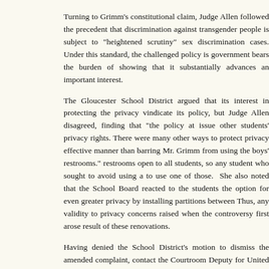Turning to Grimm's constitutional claim, Judge Allen followed the precedent that discrimination against transgender people is subject to "heightened scrutiny" sex discrimination cases. Under this standard, the challenged policy is government bears the burden of showing that it substantially advances an important interest.
The Gloucester School District argued that its interest in protecting the privacy vindicate its policy, but Judge Allen disagreed, finding that "the policy at issue other students' privacy rights. There were many other ways to protect privacy effective manner than barring Mr. Grimm from using the boys' restrooms." restrooms open to all students, so any student who sought to avoid using a to use one of those. She also noted that the School Board reacted to the students the option for even greater privacy by installing partitions between Thus, any validity to privacy concerns raised when the controversy first arose result of these renovations.
Having denied the School District's motion to dismiss the amended complaint, contact the Courtroom Deputy for United States Magistrate Judges with conference. If the parties can't work out a settlement with a magistrate judge, dictating what the school district must do to be in compliance with Title IX and the prevailing party in this long-running and hotly litigated civil rights case, there will be a substantial attorneys' fee award.
Grimm's lawyer, Joshua Block of the ACLU LGBTQ Rights Project, indicated the declaratory judgment and nominal damages for Grimm, and of course a policy. Grimm now lives in Berkeley, California, and intends to begin college. New York Times' report on the case.